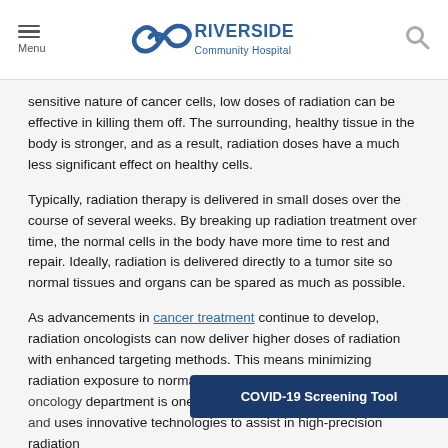Menu | Riverside Community Hospital
sensitive nature of cancer cells, low doses of radiation can be effective in killing them off. The surrounding, healthy tissue in the body is stronger, and as a result, radiation doses have a much less significant effect on healthy cells.
Typically, radiation therapy is delivered in small doses over the course of several weeks. By breaking up radiation treatment over time, the normal cells in the body have more time to rest and repair. Ideally, radiation is delivered directly to a tumor site so normal tissues and organs can be spared as much as possible.
As advancements in cancer treatment continue to develop, radiation oncologists can now deliver higher doses of radiation with enhanced targeting methods. This means minimizing radiation exposure to normal organs even fu... department is one of the most adva... uses innovative technologies to assist in high-precision radiation
COVID-19 Screening Tool